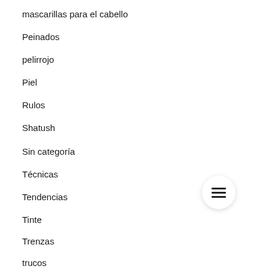mascarillas para el cabello
Peinados
pelirrojo
Piel
Rulos
Shatush
Sin categoría
Técnicas
Tendencias
Tinte
Trenzas
trucos